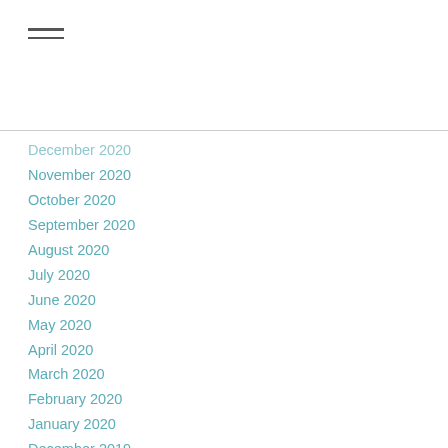[Figure (other): Hamburger menu icon with two horizontal lines]
December 2020
November 2020
October 2020
September 2020
August 2020
July 2020
June 2020
May 2020
April 2020
March 2020
February 2020
January 2020
December 2019
November 2019
October 2019
September 2019
August 2019
July 2019